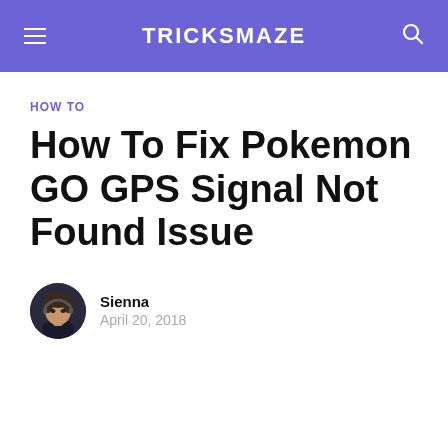TRICKSMAZE
HOW TO
How To Fix Pokemon GO GPS Signal Not Found Issue
Sienna
April 20, 2018